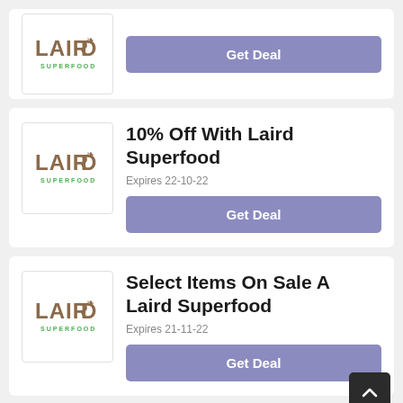[Figure (logo): Laird Superfood logo — partial card at top, Get Deal button visible]
Get Deal
[Figure (logo): Laird Superfood logo]
10% Off With Laird Superfood
Expires 22-10-22
Get Deal
[Figure (logo): Laird Superfood logo]
Select Items On Sale At Laird Superfood
Expires 21-11-22
Get Deal